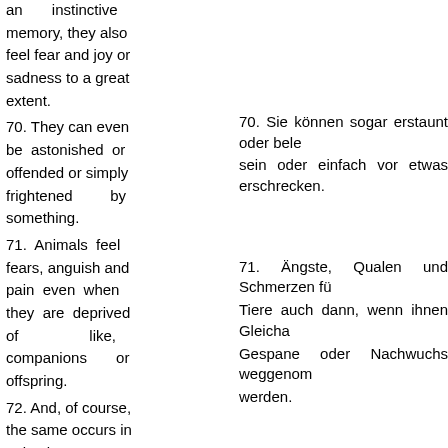an instinctive memory, they also feel fear and joy or sadness to a great extent.
70. They can even be astonished or offended or simply frightened by something.
70. Sie können sogar erstaunt oder beleidigt sein oder einfach vor etwas erschrecken.
71. Animals feel fears, anguish and pain even when they are deprived of like, companions or offspring.
71. Ängste, Qualen und Schmerzen fühlen Tiere auch dann, wenn ihnen Gleichartige, Gespane oder Nachwuchs weggenommen werden.
72. And, of course, the same occurs in animal transport, especially when the animals are
72. Und natürlich tritt gleiches in Erscheinung bei Tiertransporten, und zwar ganz besonders dann, wenn die Tiere eng zusammengepfercht sind oder wenn man sie dürsten und hungern lässt oder ihnen körperliche oder psychische